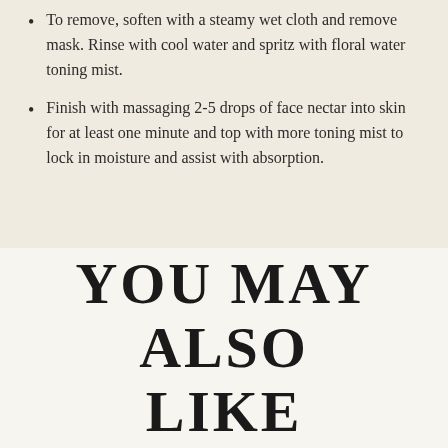To remove, soften with a steamy wet cloth and remove mask. Rinse with cool water and spritz with floral water toning mist.
Finish with massaging 2-5 drops of face nectar into skin for at least one minute and top with more toning mist to lock in moisture and assist with absorption.
YOU MAY ALSO LIKE